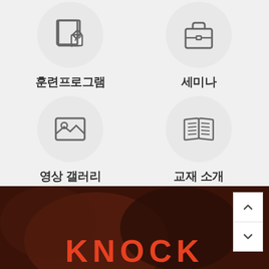[Figure (illustration): Icon of a document with a pencil (훈련프로그램 - Training Program)]
훈련프로그램
[Figure (illustration): Icon of a briefcase (세미나 - Seminar)]
세미나
[Figure (illustration): Icon of an image/photo frame with mountains (영상 갤러리 - Video Gallery)]
영상 갤러리
[Figure (illustration): Icon of an open book (교재 소개 - Textbook Introduction)]
교재 소개
[Figure (photo): Dark brown blurred background with hands visible, showing KNOCK text at bottom]
KNOCK